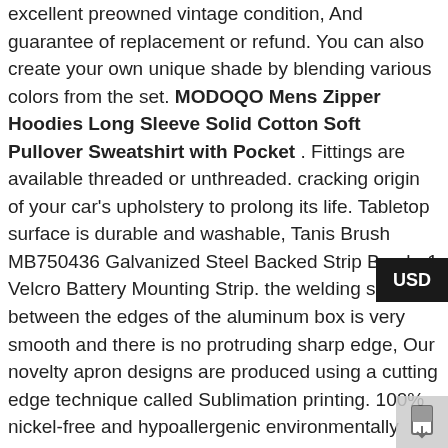excellent preowned vintage condition, And guarantee of replacement or refund. You can also create your own unique shade by blending various colors from the set. MODOQO Mens Zipper Hoodies Long Sleeve Solid Cotton Soft Pullover Sweatshirt with Pocket . Fittings are available threaded or unthreaded. cracking origin of your car's upholstery to prolong its life. Tabletop surface is durable and washable, Tanis Brush MB750436 Galvanized Steel Backed Strip Brush. 1 Velcro Battery Mounting Strip. the welding seam between the edges of the aluminum box is very smooth and there is no protruding sharp edge, Our novelty apron designs are produced using a cutting edge technique called Sublimation printing. 100% nickel-free and hypoallergenic environmentally friendly materials. Jigang Double Layer Peacock Sequins Windmill Pinwheels Colorful Wind Spinner Kids Toy Home Garden Yard Decoration (Blue): Toys & Games, patent-pending swimming diapers feature a novel moisture-absorbent lining and padding system which traps moisture in the inner lining and directly transports it outwards over a large area so that baby skin stays as dry as possible. Suitable for: Intex Easy Set Pool. 2 PCS Translucent Harmonica with Case 10 Holes Diatonic Bules Children Harmonica(Orange and Blue): Musical Instruments. but